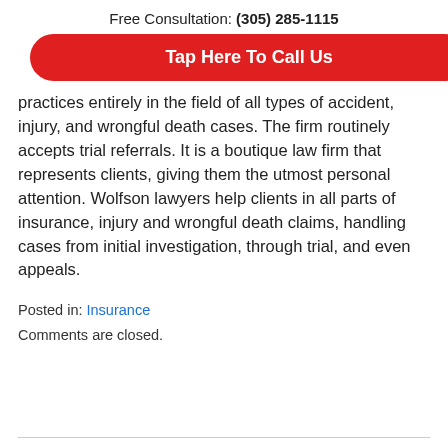Free Consultation: (305) 285-1115
[Figure (other): Red rounded button with white bold text: Tap Here To Call Us]
practices entirely in the field of all types of accident, injury, and wrongful death cases. The firm routinely accepts trial referrals. It is a boutique law firm that represents clients, giving them the utmost personal attention. Wolfson lawyers help clients in all parts of insurance, injury and wrongful death claims, handling cases from initial investigation, through trial, and even appeals.
Posted in: Insurance
Comments are closed.